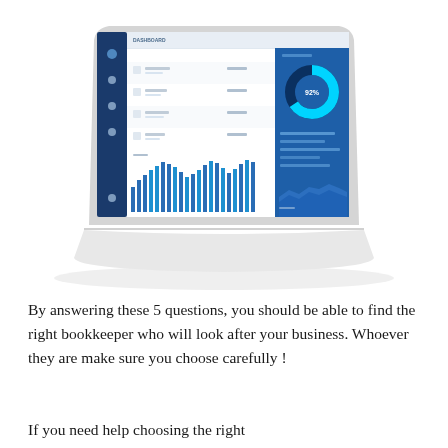[Figure (screenshot): Isometric illustration of a laptop displaying a financial dashboard with bar charts, a donut/ring chart, an area chart, and a data table. The dashboard has a dark blue sidebar on the left and shows various data visualizations in blue tones.]
By answering these 5 questions, you should be able to find the right bookkeeper who will look after your business. Whoever they are make sure you choose carefully !
If you need help choosing the right